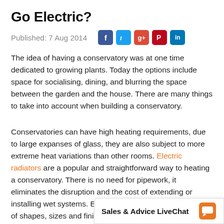Go Electric?
Published: 7 Aug 2014
The idea of having a conservatory was at one time dedicated to growing plants. Today the options include space for socialising, dining, and blurring the space between the garden and the house. There are many things to take into account when building a conservatory.
Conservatories can have high heating requirements, due to large expanses of glass, they are also subject to more extreme heat variations than other rooms. Electric radiators are a popular and straightforward way to heating a conservatory. There is no need for pipework, it eliminates the disruption and the cost of extending or installing wet systems. Electric radiators come in a range of shapes, sizes and finishes.
The biggest issue for any [continues off page]
Sales & Advice LiveChat